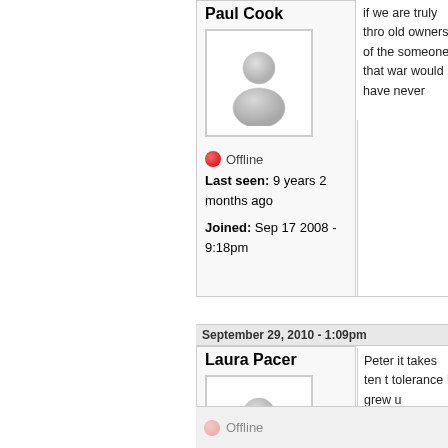if we are truly thro... old owners of the ... someone that war... would have never
Paul Cook
[Figure (illustration): Default user avatar - grey person silhouette icon]
Offline
Last seen: 9 years 2 months ago
Joined: Sep 17 2008 - 9:18pm
September 29, 2010 - 1:09pm
Laura Pacer
[Figure (illustration): Default user avatar - grey person silhouette icon]
Peter it takes ten t... tolerance I grew u... intensifies the way
Offline